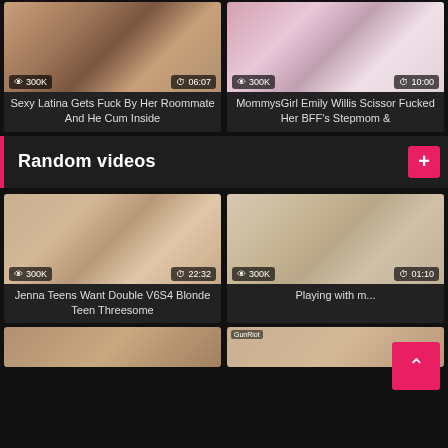[Figure (screenshot): Video thumbnail - Sexy Latina, 300K views, 06:07 duration]
Sexy Latina Gets Fuck By Her Roommate And He Cum Inside
[Figure (screenshot): Video thumbnail - MommysGirl Emily Willis, 300K views, 10:00 duration]
MommysGirl Emily Willis Scissor Fucked Her BFF's Stepmom &
Random videos
[Figure (screenshot): Video thumbnail - Jenna Teens, 300K views, 22:32 duration]
Jenna Teens Want Double V6S4 Blonde Teen Threesome
[Figure (screenshot): Video thumbnail - Playing with m..., 300K views, 01:10 duration]
Playing with m...
[Figure (screenshot): Partial video thumbnail bottom left]
[Figure (screenshot): Partial video thumbnail bottom right]